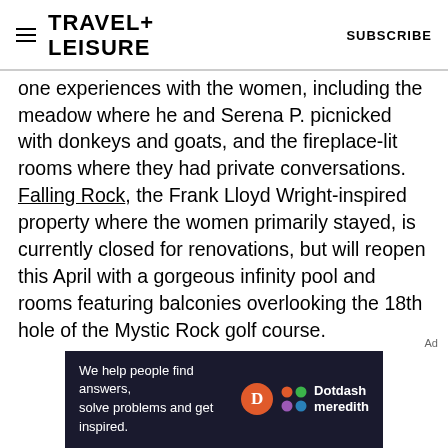TRAVEL+ LEISURE   SUBSCRIBE
one experiences with the women, including the meadow where he and Serena P. picnicked with donkeys and goats, and the fireplace-lit rooms where they had private conversations. Falling Rock, the Frank Lloyd Wright-inspired property where the women primarily stayed, is currently closed for renovations, but will reopen this April with a gorgeous infinity pool and rooms featuring balconies overlooking the 18th hole of the Mystic Rock golf course.
[Figure (other): Dotdash Meredith advertisement banner: 'We help people find answers, solve problems and get inspired.']